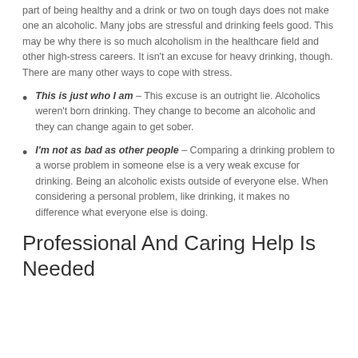part of being healthy and a drink or two on tough days does not make one an alcoholic. Many jobs are stressful and drinking feels good. This may be why there is so much alcoholism in the healthcare field and other high-stress careers. It isn't an excuse for heavy drinking, though. There are many other ways to cope with stress.
This is just who I am – This excuse is an outright lie. Alcoholics weren't born drinking. They change to become an alcoholic and they can change again to get sober.
I'm not as bad as other people – Comparing a drinking problem to a worse problem in someone else is a very weak excuse for drinking. Being an alcoholic exists outside of everyone else. When considering a personal problem, like drinking, it makes no difference what everyone else is doing.
Professional And Caring Help Is Needed